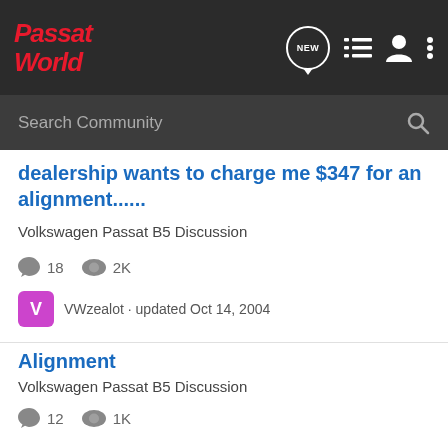Passat World
Search Community
dealership wants to charge me $347 for an alignment......
Volkswagen Passat B5 Discussion
18  2K
VWzealot · updated Oct 14, 2004
Alignment
Volkswagen Passat B5 Discussion
12  1K
rshep · updated Mar 5, 2003
B5.5 alignment - where to go?